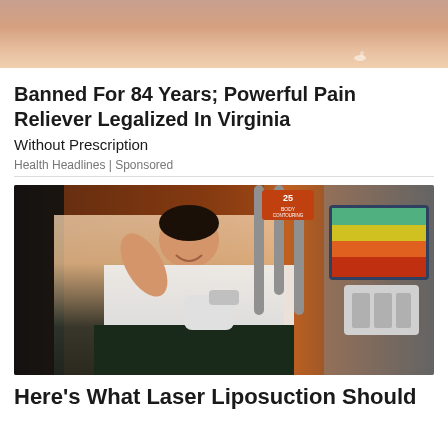[Figure (photo): Close-up photo of a hand or skin, cropped at top of page]
Banned For 84 Years; Powerful Pain Reliever Legalized In Virginia
Without Prescription
Health Headlines | Sponsored
[Figure (photo): Woman lying on a medical chair receiving laser liposuction body contouring treatment with equipment applicators on her abdomen, clinic setting with informational display screen visible]
Here's What Laser Liposuction Should